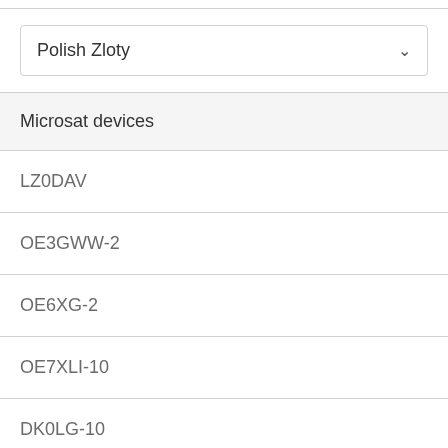Polish Zloty
Microsat devices
LZ0DAV
OE3GWW-2
OE6XG-2
OE7XLI-10
DK0LG-10
RR3AL